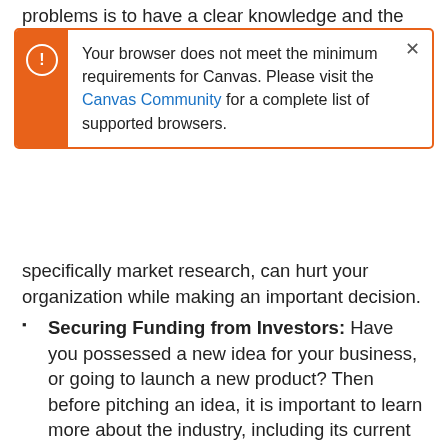problems is to have a clear knowledge and the right
[Figure (screenshot): Browser warning dialog with orange left bar and exclamation icon. Text reads: 'Your browser does not meet the minimum requirements for Canvas. Please visit the Canvas Community for a complete list of supported browsers.' with a close X button.]
specifically market research, can hurt your organization while making an important decision.
Securing Funding from Investors: Have you possessed a new idea for your business, or going to launch a new product? Then before pitching an idea, it is important to learn more about the industry, including its current or potential competitors. These Companies allow you to solve your problem by knowing whether your idea is going to solve the specific existing problem or not.
Determining New Business Opportunities: Marker research is more than just learning about trends and consumer behavior; rather, it can allow your business to find new revenue streams for your business. Again it opens new channels for revenue, market research that